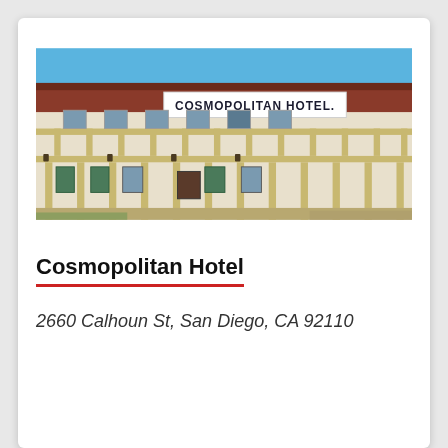[Figure (photo): Photograph of the Cosmopolitan Hotel building exterior — a two-story white building with yellow wooden balconies and columns, a sign reading 'COSMOPOLITAN HOTEL.' on the roofline, green shuttered windows, and a bright blue sky background.]
Cosmopolitan Hotel
2660 Calhoun St, San Diego, CA 92110